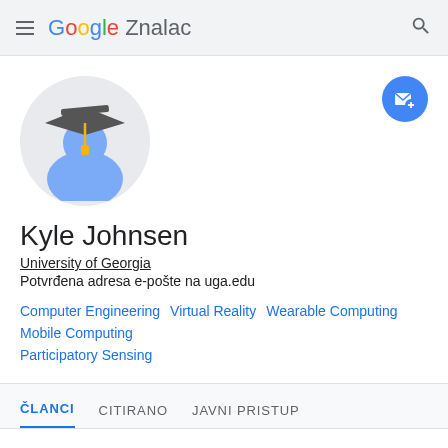Google Znalac
[Figure (illustration): Google Scholar profile avatar: blue academic silhouette with dark gray graduation cap and gold tassel, on a light gray circular background]
[Figure (illustration): Blue circular follow/email button with envelope and plus icon]
Kyle Johnsen
University of Georgia
Potvrđena adresa e-pošte na uga.edu
Computer Engineering
Virtual Reality
Wearable Computing
Mobile Computing
Participatory Sensing
ČLANCI  CITIRANO  JAVNI PRISTUP
RAZVRSTAJ ▼   CITIRANO